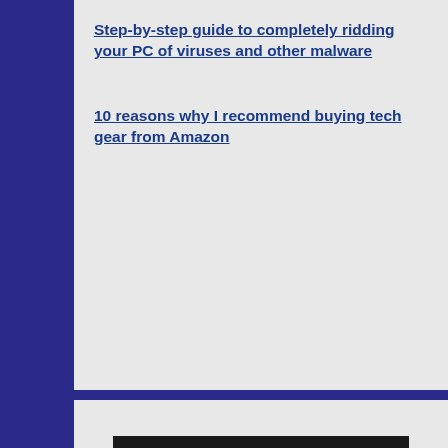Step-by-step guide to completely ridding your PC of viruses and other malware
10 reasons why I recommend buying tech gear from Amazon
[Figure (infographic): InMotion Hosting advertisement banner with text 'RICK'S DAILY TIPS IS HOSTED BY inmotion hosting' and a 'FIND OUT WHY →' button, dark background with red swoosh logo element.]